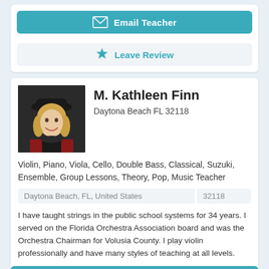[Figure (other): Teal 'Email Teacher' button with envelope icon]
[Figure (other): Light gray 'Leave Review' button with teal star icon]
[Figure (photo): Portrait photo of M. Kathleen Finn, a woman with blond hair and a black hat]
M. Kathleen Finn
Daytona Beach FL 32118
Violin, Piano, Viola, Cello, Double Bass, Classical, Suzuki, Ensemble, Group Lessons, Theory, Pop, Music Teacher
Daytona Beach, FL, United States
32118
I have taught strings in the public school systems for 34 years. I served on the Florida Orchestra Association board and was the Orchestra Chairman for Volusia County. I play violin professionally and have many styles of teaching at all levels.
[Figure (other): Teal 'Email Teacher' button with envelope icon]